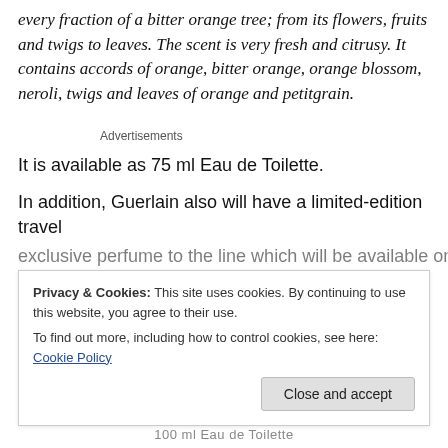every fraction of a bitter orange tree; from its flowers, fruits and twigs to leaves. The scent is very fresh and citrusy. It contains accords of orange, bitter orange, orange blossom, neroli, twigs and leaves of orange and petitgrain.
Advertisements
It is available as 75 ml Eau de Toilette.
In addition, Guerlain also will have a limited-edition travel
exclusive perfume to the line which will be available only
Privacy & Cookies: This site uses cookies. By continuing to use this website, you agree to their use. To find out more, including how to control cookies, see here: Cookie Policy